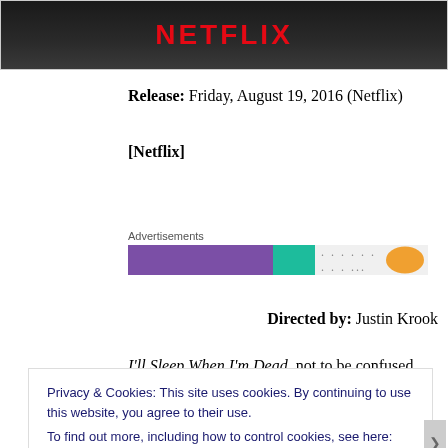[Figure (photo): Dark header image with Netflix logo in red text on black/dark background]
Release: Friday, August 19, 2016 (Netflix)
[Netflix]
[Figure (infographic): Advertisements bar with purple, teal/green, and orange segments on a light background, labeled 'Advertisements']
Directed by: Justin Krook
I'll Sleep When I'm Dead, not to be confused with Mike
Privacy & Cookies: This site uses cookies. By continuing to use this website, you agree to their use.
To find out more, including how to control cookies, see here: Cookie Policy
Close and accept